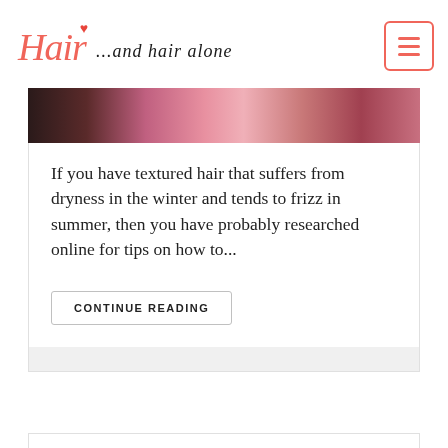Hair ...and hair alone
[Figure (photo): Partial photo of a woman with colorful/sparkly hair visible at top of article card]
If you have textured hair that suffers from dryness in the winter and tends to frizz in summer, then you have probably researched online for tips on how to...
CONTINUE READING